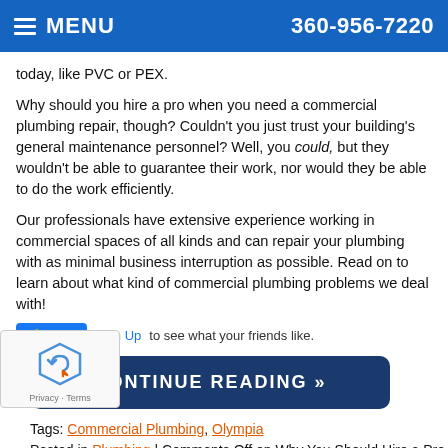MENU  360-956-7220
today, like PVC or PEX.
Why should you hire a pro when you need a commercial plumbing repair, though? Couldn’t you just trust your building’s general maintenance personnel? Well, you could, but they wouldn’t be able to guarantee their work, nor would they be able to do the work efficiently.
Our professionals have extensive experience working in commercial spaces of all kinds and can repair your plumbing with as minimal business interruption as possible. Read on to learn about what kind of commercial plumbing problems we deal with!
[Figure (other): Facebook Like button with Sign Up link and text 'to see what your friends like.']
CONTINUE READING »
Tags: Commercial Plumbing, Olympia
Posted in Plumbing | Comments Off on Why You Should Hire a Pro for Your Commercial Plumbing Repair
[Figure (other): reCAPTCHA verification widget with Privacy and Terms links]